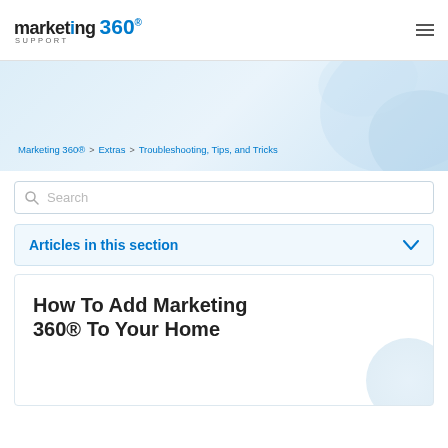marketing 360® SUPPORT
Marketing 360® > Extras > Troubleshooting, Tips, and Tricks
Search
Articles in this section
How To Add Marketing 360® To Your Home